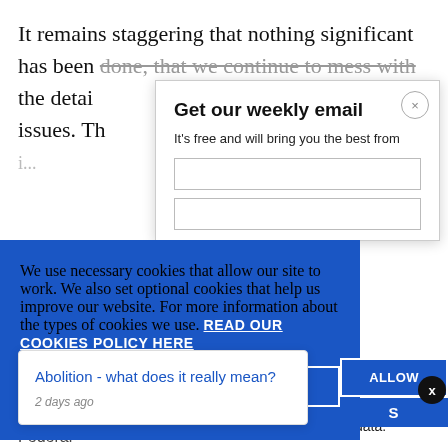It remains staggering that nothing significant has been done, that we continue to mess with the details, ignoring the big structural issues. Th...
Get our weekly email
It's free and will bring you the best from
We use necessary cookies that allow our site to work. We also set optional cookies that help us improve our website. For more information about the types of cookies we use. READ OUR COOKIES POLICY HERE
COOKIE
ALLOW
S
Abolition - what does it really mean?
2 days ago
data.
Federal